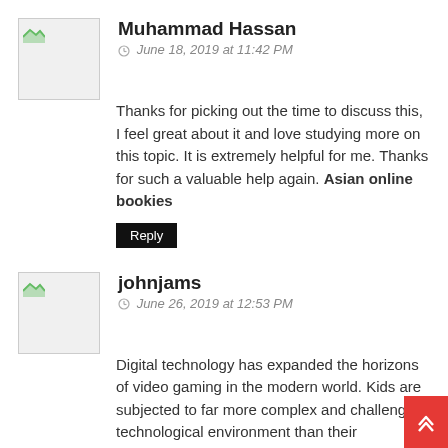Muhammad Hassan
June 18, 2019 at 11:42 PM
Thanks for picking out the time to discuss this, I feel great about it and love studying more on this topic. It is extremely helpful for me. Thanks for such a valuable help again. Asian online bookies
Reply
johnjams
June 26, 2019 at 12:53 PM
Digital technology has expanded the horizons of video gaming in the modern world. Kids are subjected to far more complex and challenging technological environment than their counterparts were from over half a century back. GCLUB
Reply
rashid
July 16, 2019 at 4:27 AM